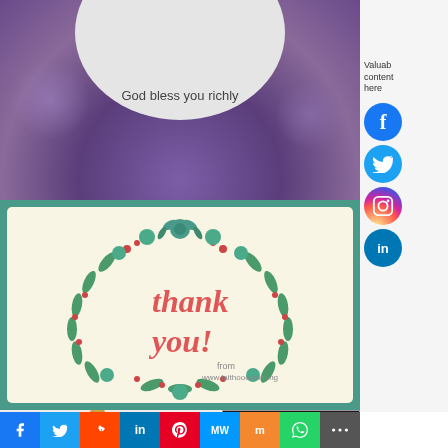[Figure (photo): Purple flowers background with circular overlay containing text 'God bless you richly']
God bless you richly
[Figure (illustration): Thank you card with teal floral wreath border and cursive 'thank you!' text in red/coral, with 'from www.faithooo.com.ng' at bottom right]
[Figure (photo): Bottom section with craft/art supplies on left and phone screenshot showing purple background on right]
Valuable content here
[Figure (infographic): Social media share bar with Facebook, Twitter, Reddit, LinkedIn, Pinterest, MeWe, Mix, WhatsApp, and More buttons]